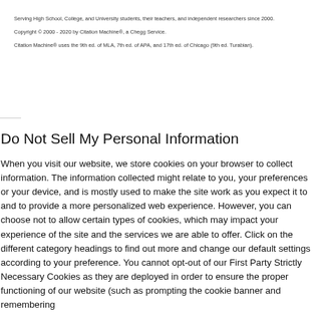Serving High School, College, and University students, their teachers, and independent researchers since 2000.
Copyright © 2000 - 2020 by Citation Machine®, a Chegg Service.
Citation Machine® uses the 9th ed. of MLA, 7th ed. of APA, and 17th ed. of Chicago (9th ed. Turabian).
Do Not Sell My Personal Information
When you visit our website, we store cookies on your browser to collect information. The information collected might relate to you, your preferences or your device, and is mostly used to make the site work as you expect it to and to provide a more personalized web experience. However, you can choose not to allow certain types of cookies, which may impact your experience of the site and the services we are able to offer. Click on the different category headings to find out more and change our default settings according to your preference. You cannot opt-out of our First Party Strictly Necessary Cookies as they are deployed in order to ensure the proper functioning of our website (such as prompting the cookie banner and remembering